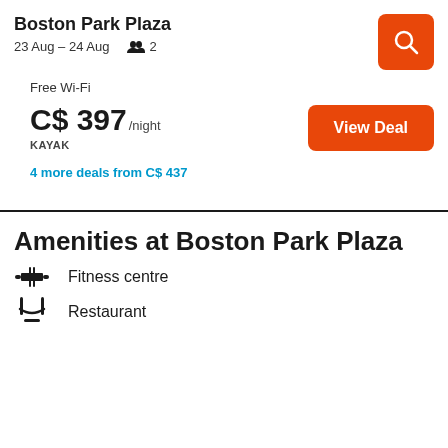Boston Park Plaza
23 Aug – 24 Aug  👥 2
Free Wi-Fi
C$ 397 /night KAYAK
View Deal
4 more deals from C$ 437
Amenities at Boston Park Plaza
Fitness centre
Restaurant